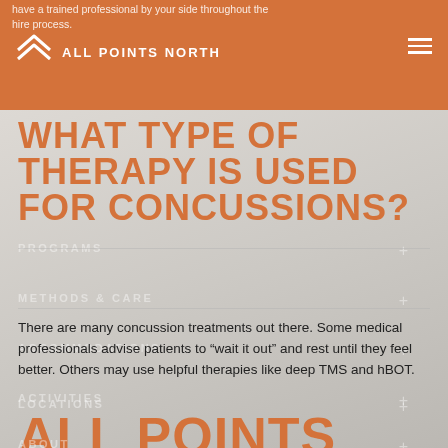have a trained professional by your side throughout the hire process.
[Figure (logo): All Points North logo with chevron icon and text ALL POINTS NORTH]
WHAT TYPE OF THERAPY IS USED FOR CONCUSSIONS?
There are many concussion treatments out there. Some medical professionals advise patients to “wait it out” and rest until they feel better. Others may use helpful therapies like deep TMS and hBOT.
ALL POINTS NORTH LODGE